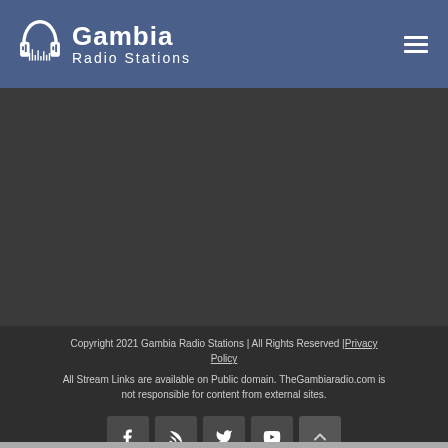Gambia Radio Stations
[Figure (logo): Gambia Radio Stations logo with headphones icon and site name]
Copyright 2021 Gambia Radio Stations | All Rights Reserved |Privacy Policy
All Stream Links are available on Public domain. TheGambiaradio.com is not responsible for content from external sites.